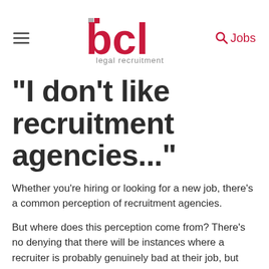bcl legal recruitment — Jobs
"I don't like recruitment agencies..."
Whether you’re hiring or looking for a new job, there’s a common perception of recruitment agencies.
But where does this perception come from? There’s no denying that there will be instances where a recruiter is probably genuinely bad at their job, but most of the